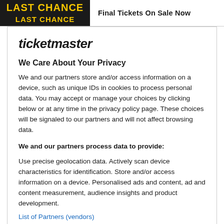Final Tickets On Sale Now
ticketmaster
We Care About Your Privacy
We and our partners store and/or access information on a device, such as unique IDs in cookies to process personal data. You may accept or manage your choices by clicking below or at any time in the privacy policy page. These choices will be signaled to our partners and will not affect browsing data.
We and our partners process data to provide:
Use precise geolocation data. Actively scan device characteristics for identification. Store and/or access information on a device. Personalised ads and content, ad and content measurement, audience insights and product development.
List of Partners (vendors)